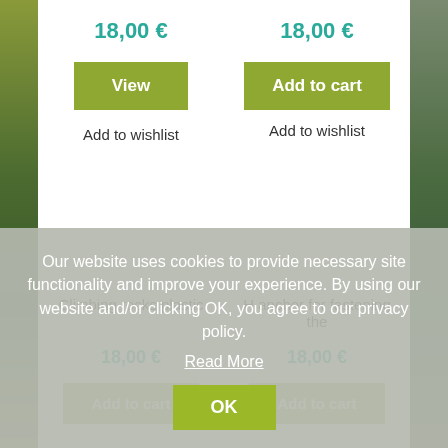18,00 €
18,00 €
View
Add to cart
Add to wishlist
Add to wishlist
Climbing rocks plastic
H anchor for fastening the
18,00 €
18,00 €
Our website uses cookies to provide necessary site functionality and improve your experience. By using our website and/or clicking OK, you agree to our privacy policy.
Read More
OK